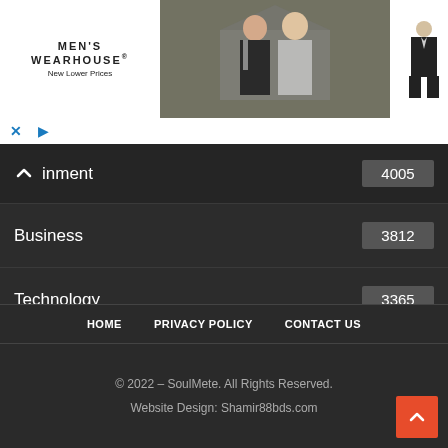[Figure (photo): Men's Wearhouse advertisement banner with couple in formal wear and a man in suit, with INFO button]
Entertainment 4005
Business 3812
Technology 3365
HOME   PRIVACY POLICY   CONTACT US
© 2022 – SoulMete. All Rights Reserved.
Website Design: Shamir88bds.com